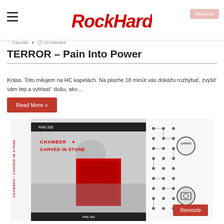Rock Hard
Favorite  10 minutes
TERROR – Pain Into Power
Krása. Toto milujem na HC kapelách. Na ploche 18 minút vás dokážu rozhýbať, zvýšiť vám tep a vytriastʼ dušu, ako…
Read More »
[Figure (photo): Album cover for Chamber – Carved In Stone. Black and white cassette/vinyl packaging with red artwork in center showing a figure, with circuit-board-like dot pattern on the right side. Text reads CHAMBER • CARVED IN STONE. A red Recenzie badge appears in the bottom right corner.]